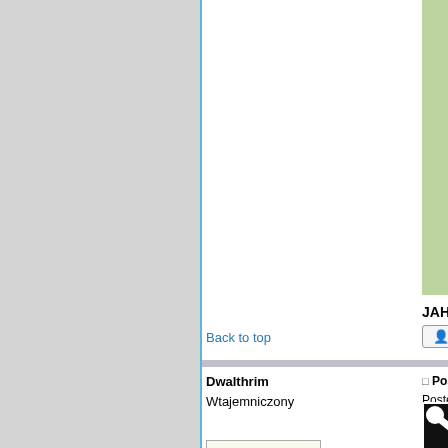[Figure (photo): Green painted miniature figure on a dark base, against a light green background. Only the lower portion is visible.]
JAH RASTAFARA
Back to top
profile
Dwalthrim
Wtajemniczony
Post subject: Re: P
Posted: Śr stycz 04, 2
[Figure (illustration): Skull and crossbones image on a dark background with blue sky, pirate flag style]
OFFlINE
Joined: marca 07, 2011
Posts: 2999
Location: Grodzisk. Maz
Filia Mazowiecka